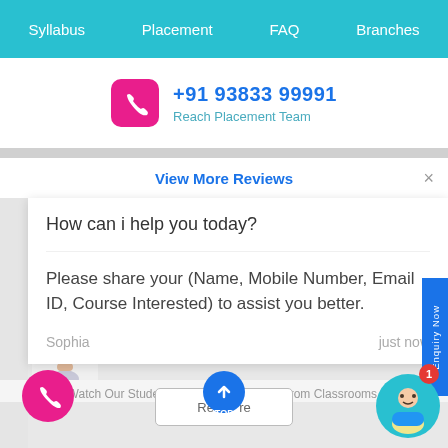Syllabus  Placement  FAQ  Branches
+91 93833 99991
Reach Placement Team
View More Reviews
How can i help you today?
Please share your (Name, Mobile Number, Email ID, Course Interested) to assist you better.
Sophia  just now
Watch Our Students Live Video Reviews from Classrooms.
[Figure (screenshot): Chat popup overlay on an education website showing a help message from Sophia asking for name, mobile number, email and course details]